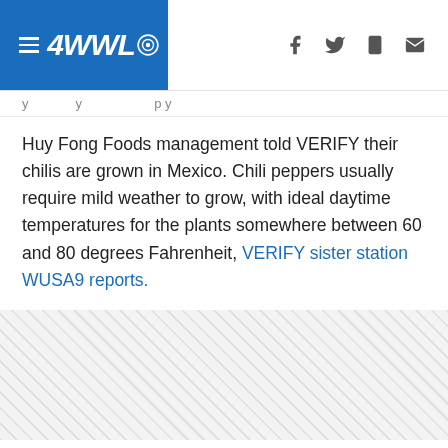4WWL (TV station logo with hamburger menu and social/share icons)
Huy Fong Foods management told VERIFY their chilis are grown in Mexico. Chili peppers usually require mild weather to grow, with ideal daytime temperatures for the plants somewhere between 60 and 80 degrees Fahrenheit, VERIFY sister station WUSA9 reports.
[Figure (other): Hatched gray advertisement placeholder area]
In a statement, Huy Fong Foods confirmed that there is "an unprecedented shortage" of their products, saying weather conditions in spring affected the quality of its chili peppers.
RELATED: Yes, almond milk does contain almonds, but the